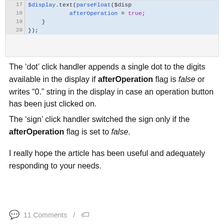[Figure (screenshot): Code snippet showing lines 17-20 of JavaScript code. Line 17 (partially visible): $display.text(parseFloat($disp...). Line 18: afterOperation = true;. Line 19: }. Line 20: });]
The ‘dot’ click handler appends a single dot to the digits available in the display if afterOperation flag is false or writes “0.” string in the display in case an operation button has been just clicked on.
The ‘sign’ click handler switched the sign only if the afterOperation flag is set to false.
I really hope the article has been useful and adequately responding to your needs.
11 Comments /